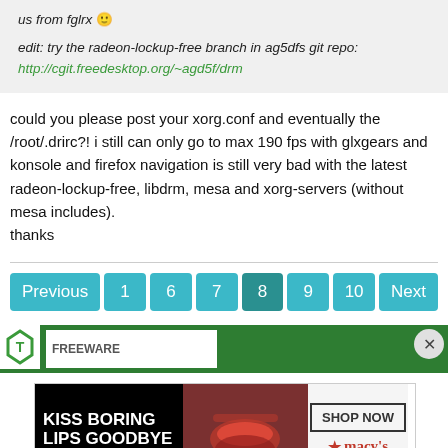us from fglrx 🙂 edit: try the radeon-lockup-free branch in ag5dfs git repo: http://cgit.freedesktop.org/~agd5f/drm
could you please post your xorg.conf and eventually the /root/.drirc?! i still can only go to max 190 fps with glxgears and konsole and firefox navigation is still very bad with the latest radeon-lockup-free, libdrm, mesa and xorg-servers (without mesa includes).
thanks
[Figure (screenshot): Pagination navigation bar with buttons: Previous, 1, 6, 7, 8 (current/darker), 9, 10, Next — teal/cyan rounded buttons]
[Figure (screenshot): Green advertisement bar with logo and close button, and a Macy's lipstick banner ad reading KISS BORING LIPS GOODBYE with SHOP NOW button and macys star logo]